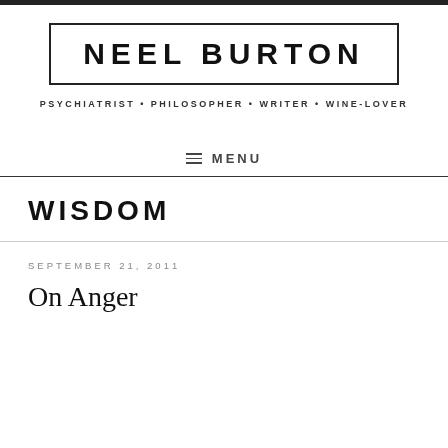NEEL BURTON
PSYCHIATRIST • PHILOSOPHER • WRITER • WINE-LOVER
≡ MENU
WISDOM
SEPTEMBER 21, 2011
On Anger